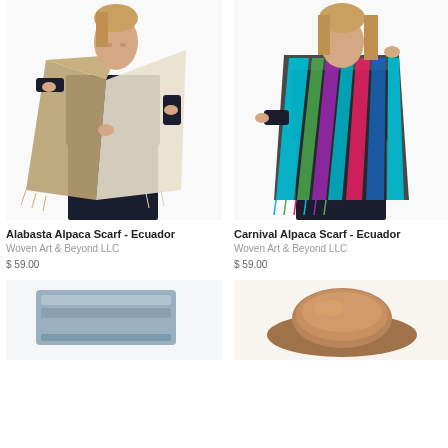[Figure (photo): Woman wearing Alabasta Alpaca Scarf - Ecuador, a beige/cream two-tone large scarf draped over dark outfit]
[Figure (photo): Woman wearing Carnival Alpaca Scarf - Ecuador, a multicolored striped scarf in blue, teal, pink and dark tones]
Alabasta Alpaca Scarf - Ecuador
Woven Art & Beyond LLC
$ 59.00
Carnival Alpaca Scarf - Ecuador
Woven Art & Beyond LLC
$ 59.00
[Figure (photo): Partial view of a third product - appears to be a folded item in gray/blue tones]
[Figure (photo): Partial view of a fourth product - appears to be a round/hat item in warm brown tones]